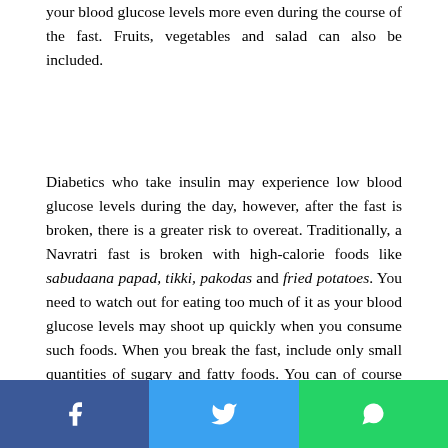your blood glucose levels more even during the course of the fast. Fruits, vegetables and salad can also be included.
Diabetics who take insulin may experience low blood glucose levels during the day, however, after the fast is broken, there is a greater risk to overeat. Traditionally, a Navratri fast is broken with high-calorie foods like sabudaana papad, tikki, pakodas and fried potatoes. You need to watch out for eating too much of it as your blood glucose levels may shoot up quickly when you consume such foods. When you break the fast, include only small quantities of sugary and fatty foods. You can of course try and get creative with your fast opening
[Figure (other): Social sharing buttons bar at the bottom with Facebook (blue), Twitter (light blue), and WhatsApp (green) icons]